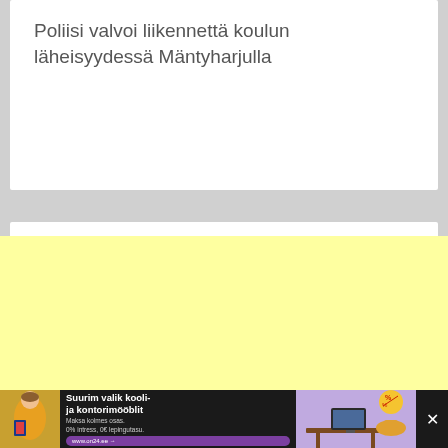Poliisi valvoi liikennettä koulun läheisyydessä Mäntyharjulla
[Figure (photo): Advertisement banner: 'Suurim valik kooli- ja kontorimööblit' with woman in yellow top, office furniture, percent badge, and www.on24.ee link button]